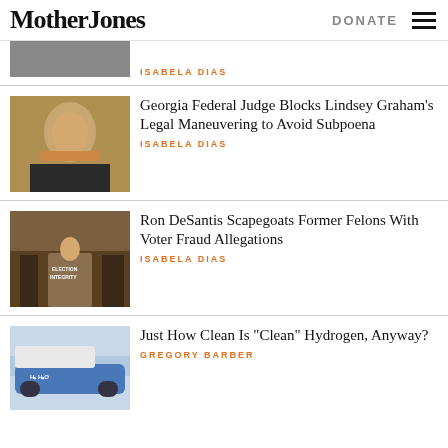Mother Jones | DONATE
[Figure (photo): Partial cropped photo at top of page]
ISABELA DIAS
[Figure (photo): Photo of Lindsey Graham looking surprised in formal attire]
Georgia Federal Judge Blocks Lindsey Graham’s Legal Maneuvering to Avoid Subpoena
ISABELA DIAS
[Figure (photo): Photo of Ron DeSantis at Election Integrity press conference with officials]
Ron DeSantis Scapegoats Former Felons With Voter Fraud Allegations
ISABELA DIAS
[Figure (photo): Photo of a blue hydrogen bus with H2 H2O markings]
Just How Clean Is “Clean” Hydrogen, Anyway?
GREGORY BARBER